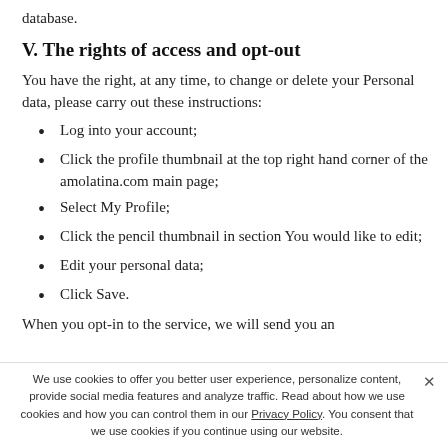database.
V. The rights of access and opt-out
You have the right, at any time, to change or delete your Personal data, please carry out these instructions:
Log into your account;
Click the profile thumbnail at the top right hand corner of the amolatina.com main page;
Select My Profile;
Click the pencil thumbnail in section You would like to edit;
Edit your personal data;
Click Save.
When you opt-in to the service, we will send you an
We use cookies to offer you better user experience, personalize content, provide social media features and analyze traffic. Read about how we use cookies and how you can control them in our Privacy Policy. You consent that we use cookies if you continue using our website.